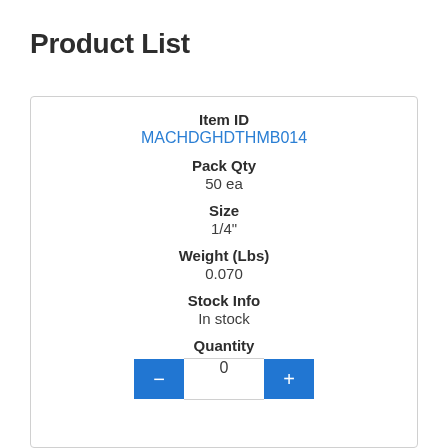Product List
| Field | Value |
| --- | --- |
| Item ID | MACHDGHDTHMB014 |
| Pack Qty | 50 ea |
| Size | 1/4" |
| Weight (Lbs) | 0.070 |
| Stock Info | In stock |
| Quantity | 0 |